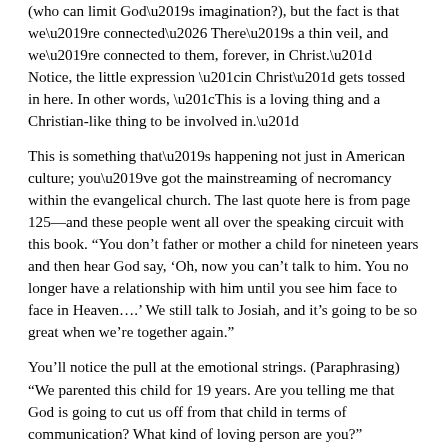(who can limit God’s imagination?), but the fact is that we’re connected… There’s a thin veil, and we’re connected to them, forever, in Christ.” Notice, the little expression “in Christ” gets tossed in here. In other words, “This is a loving thing and a Christian-like thing to be involved in.”
This is something that’s happening not just in American culture; you’ve got the mainstreaming of necromancy within the evangelical church. The last quote here is from page 125—and these people went all over the speaking circuit with this book. “You don’t father or mother a child for nineteen years and then hear God say, ‘Oh, now you can’t talk to him. You no longer have a relationship with him until you see him face to face in Heaven….’ We still talk to Josiah, and it’s going to be so great when we’re together again.”
You’ll notice the pull at the emotional strings. (Paraphrasing) “We parented this child for 19 years. Are you telling me that God is going to cut us off from that child in terms of communication? What kind of loving person are you?”
So, the whole argument here is not logic based at all, it’s not Bible based at all, but this stuff sells because it yanks you in emotionally. And you feel bad for people that lost a loved one— particularly a child. You don’t want to stand up and be the big meanie and say, “You can’t communicate with them at the present time. And the